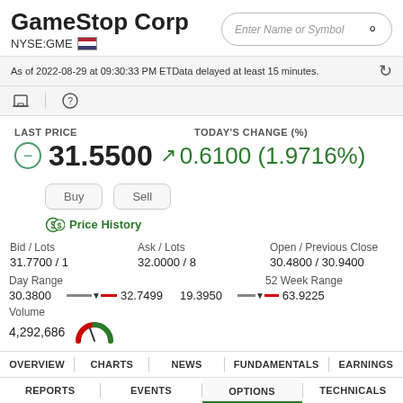GameStop Corp NYSE:GME
As of 2022-08-29 at 09:30:33 PM ET Data delayed at least 15 minutes.
LAST PRICE 31.5500  TODAY'S CHANGE (%) ↗ 0.6100 (1.9716%)
Buy  Sell
Price History
| Bid / Lots | Ask / Lots | Open / Previous Close |
| --- | --- | --- |
| 31.7700 / 1 | 32.0000 / 8 | 30.4800 / 30.9400 |
Day Range: 30.3800 — 32.7499  |  52 Week Range: 19.3950 — 63.9225
Volume  4,292,686
OVERVIEW | CHARTS | NEWS | FUNDAMENTALS | EARNINGS
REPORTS | EVENTS | OPTIONS | TECHNICALS